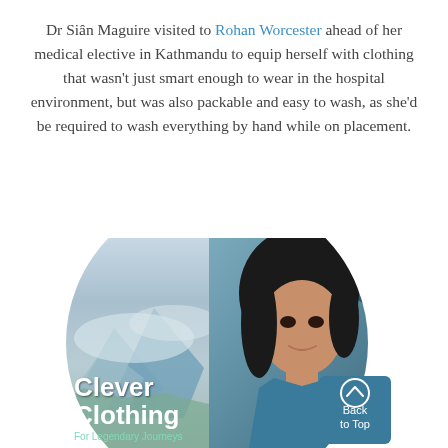Dr Siân Maguire visited to Rohan Worcester ahead of her medical elective in Kathmandu to equip herself with clothing that wasn't just smart enough to wear in the hospital environment, but was also packable and easy to wash, as she'd be required to wash everything by hand while on placement.
[Figure (photo): Circular composite image showing a mountain landscape on the left half and a young woman with dark hair smiling on the right half, with a teal/blue background. Overlaid text reads 'Clever Clothing For Legendary Journeys'. A blue geometric accent shape appears at the top right of the circle.]